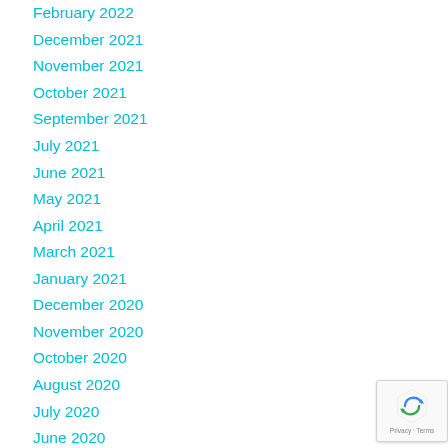February 2022
December 2021
November 2021
October 2021
September 2021
July 2021
June 2021
May 2021
April 2021
March 2021
January 2021
December 2020
November 2020
October 2020
August 2020
July 2020
June 2020
April 2020
March 2020